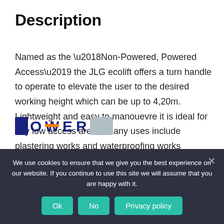Description
Named as the ‘Non-Powered, Powered Access’ the JLG ecolift offers a turn handle to operate to elevate the user to the desired working height which can be up to 4,20m. Lightweight and easy to manouevre it is ideal for any low access areas, many uses include plastering works and waterproofing works
[Figure (logo): POWER company logo with dark blue and orange lettering]
We use cookies to ensure that we give you the best experience on our website. If you continue to use this site we will assume that you are happy with it.